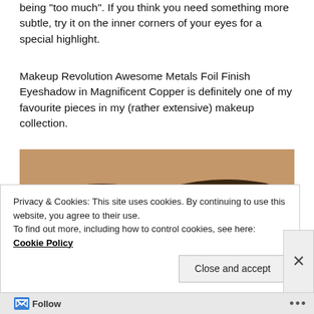being “too much”. If you think you need something more subtle, try it on the inner corners of your eyes for a special highlight.
Makeup Revolution Awesome Metals Foil Finish Eyeshadow in Magnificent Copper is definitely one of my favourite pieces in my (rather extensive) makeup collection.
[Figure (photo): Close-up photo of a person’s eyes wearing copper/shimmery eyeshadow and dark eyeliner, showing both eyes and eyebrows against brown skin.]
Privacy & Cookies: This site uses cookies. By continuing to use this website, you agree to their use.
To find out more, including how to control cookies, see here: Cookie Policy
Close and accept
Follow